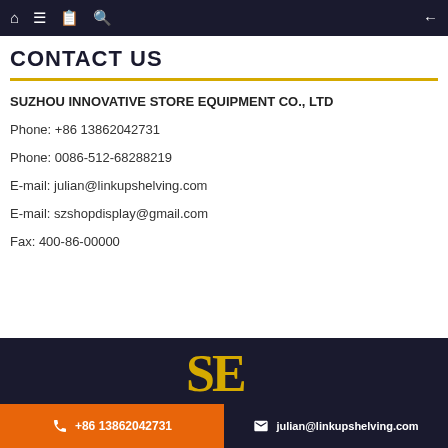CONTACT US
SUZHOU INNOVATIVE STORE EQUIPMENT CO., LTD
Phone: +86 13862042731
Phone: 0086-512-68288219
E-mail: julian@linkupshelving.com
E-mail: szshopdisplay@gmail.com
Fax: 400-86-00000
+86 13862042731  julian@linkupshelving.com